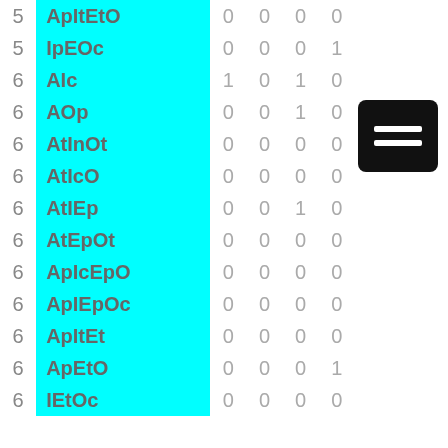|  | Name | c1 | c2 | c3 | c4 |
| --- | --- | --- | --- | --- | --- |
| 5 | ApItEtO | 0 | 0 | 0 | 0 |
| 5 | IpEOc | 0 | 0 | 0 | 1 |
| 6 | AIc | 1 | 0 | 1 | 0 |
| 6 | AOp | 0 | 0 | 1 | 0 |
| 6 | AtInOt | 0 | 0 | 0 | 0 |
| 6 | AtIcO | 0 | 0 | 0 | 0 |
| 6 | AtIEp | 0 | 0 | 1 | 0 |
| 6 | AtEpOt | 0 | 0 | 0 | 0 |
| 6 | ApIcEpO | 0 | 0 | 0 | 0 |
| 6 | ApIEpOc | 0 | 0 | 0 | 0 |
| 6 | ApItEt | 0 | 0 | 0 | 0 |
| 6 | ApEtO | 0 | 0 | 0 | 1 |
| 6 | IEtOc | 0 | 0 | 0 | 0 |
[Figure (other): Black rounded rectangle icon with two white horizontal lines (hamburger/menu icon)]